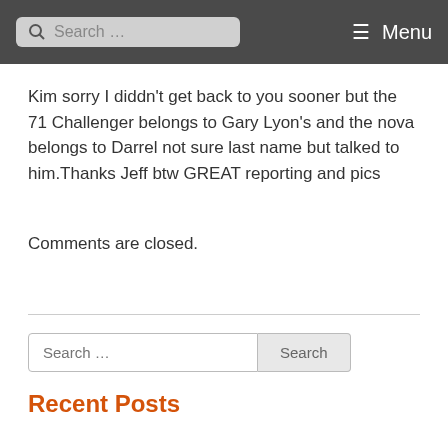Search ... Menu
Kim sorry I diddn't get back to you sooner but the 71 Challenger belongs to Gary Lyon's and the nova belongs to Darrel not sure last name but talked to him.Thanks Jeff btw GREAT reporting and pics
Comments are closed.
Search ... Search
Recent Posts